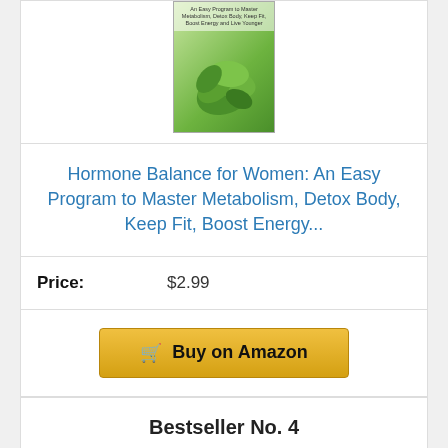[Figure (photo): Book cover for Hormone Balance for Women with green leaves]
Hormone Balance for Women: An Easy Program to Master Metabolism, Detox Body, Keep Fit, Boost Energy...
Price: $2.99
Buy on Amazon
Bestseller No. 4
[Figure (photo): Supplement bottle with teal label]